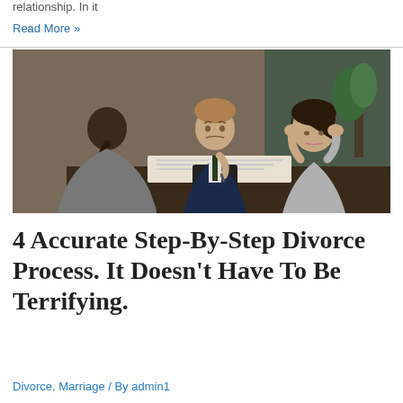relationship. In it…
Read More »
[Figure (photo): Three people at a meeting table: a woman seen from behind with dark hair in a ponytail wearing grey, a man in a navy suit writing with a pen looking concerned, and a woman on the right with her hands on her head looking distressed, office background.]
4 Accurate Step-By-Step Divorce Process. It Doesn't Have To Be Terrifying.
Divorce, Marriage / By admin1